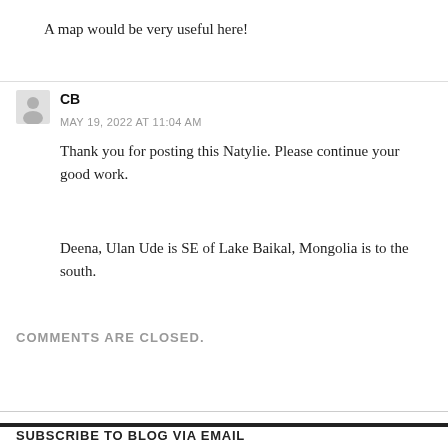A map would be very useful here!
CB
MAY 19, 2022 AT 11:04 AM
Thank you for posting this Natylie. Please continue your good work.
Deena, Ulan Ude is SE of Lake Baikal, Mongolia is to the south.
COMMENTS ARE CLOSED.
SUBSCRIBE TO BLOG VIA EMAIL